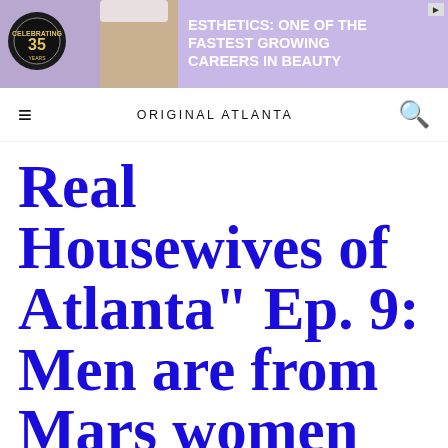[Figure (other): Advertisement banner with purple/lavender background. Shows a person with white hair getting a facial treatment, a circular anniversary logo, and text: ESTHETICS: ONE OF THE FASTEST GROWING CAREERS IN BEAUTY]
ORIGINAL ATLANTA
Real Housewives of Atlanta" Ep. 9: Men are from Mars women